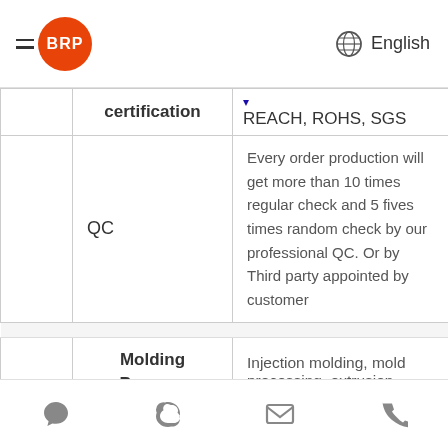BRP | English
|  | certification |  |
| --- | --- | --- |
|  | certification | REACH, ROHS, SGS |
|  | QC | Every order production will get more than 10 times regular check and 5 fives times random check by our professional QC. Or by Third party appointed by customer |
|  | Molding Process | Injection molding, mold processing, extrusion |
Navigation icons: chat, Skype, email, phone